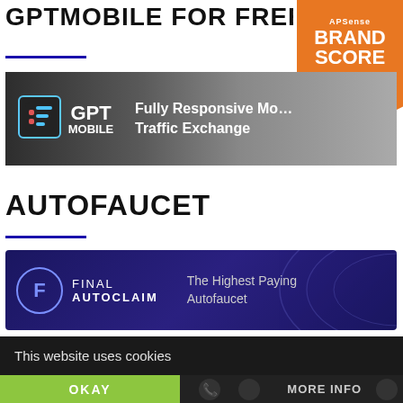GPTMOBILE FOR FREE MEMB…
[Figure (logo): APSense Brand Score badge — orange pentagon-shaped badge with text: APSense, BRAND, SCORE, LEARN MORE, and a circle plus icon]
[Figure (photo): GPT Mobile banner ad — dark background with GPT Mobile logo on left and text 'Fully Responsive Mobile Traffic Exchange' on right]
AUTOFAUCET
[Figure (photo): Final Autoclaim banner — dark blue/purple background with Final Autoclaim logo (circle with F) and text 'The Highest Paying Autofaucet']
This website uses cookies
OKAY
MORE INFO